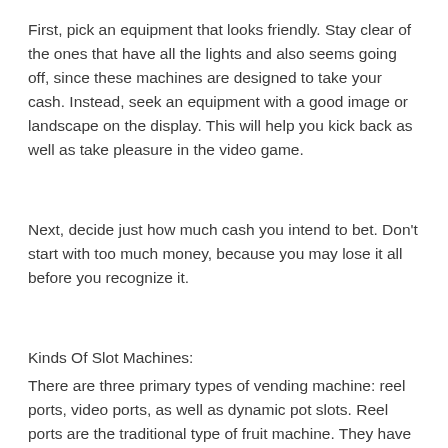First, pick an equipment that looks friendly. Stay clear of the ones that have all the lights and also seems going off, since these machines are designed to take your cash. Instead, seek an equipment with a good image or landscape on the display. This will help you kick back as well as take pleasure in the video game.
Next, decide just how much cash you intend to bet. Don't start with too much money, because you may lose it all before you recognize it.
Kinds Of Slot Machines:
There are three primary types of vending machine: reel ports, video ports, as well as dynamic pot slots. Reel ports are the traditional type of fruit machine. They have spinning reels on the front of the device that show symbols. Higher bet...